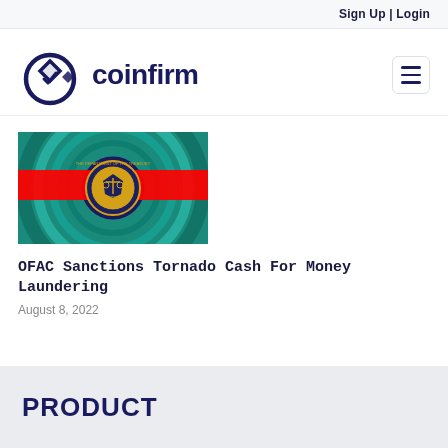Sign Up | Login
[Figure (logo): Coinfirm logo: circular C shape with diamond and checkmark icon, followed by text 'coinfirm' in dark navy bold font]
[Figure (photo): US Department of the Treasury seal on a colorful swirled background with a red banner across the middle. The seal shows scales of justice and a shield dated 1789, in blue and gold.]
OFAC Sanctions Tornado Cash For Money Laundering
August 8, 2022
PRODUCT